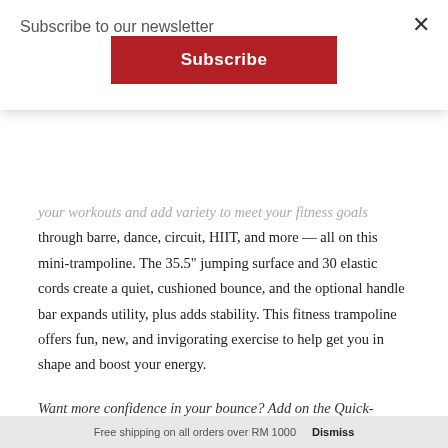Subscribe to our newsletter
[Figure (other): Red Subscribe button]
your workouts and add variety to meet your fitness goals through barre, dance, circuit, HIIT, and more — all on this mini-trampoline. The 35.5" jumping surface and 30 elastic cords create a quiet, cushioned bounce, and the optional handle bar expands utility, plus adds stability. This fitness trampoline offers fun, new, and invigorating exercise to help get you in shape and boost your energy.
Want more confidence in your bounce? Add on the Quick-Release Handle Bar at checkout.
ALL ABOUT THE
Free shipping on all orders over RM 1000    Dismiss